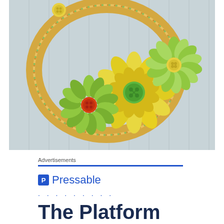[Figure (photo): A decorative floral wreath made from a hoop wrapped in colorful striped ribbon, adorned with artificial flowers (yellow and green gerbera daisies) with button centers, hanging on a light blue beadboard background.]
Advertisements
[Figure (logo): Pressable logo: blue square icon with letter P followed by the text 'Pressable' in blue]
. . . . . . . . .
The Platform